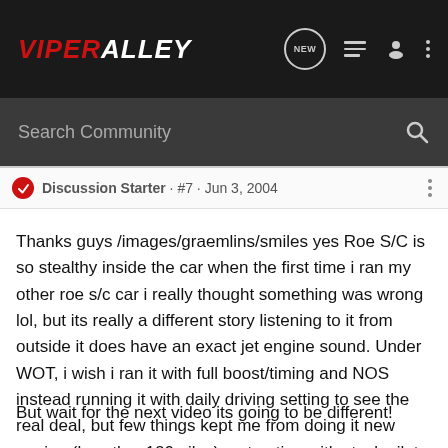ViperAlley
Search Community
Discussion Starter · #7 · Jun 3, 2004
Thanks guys /images/graemlins/smiles yes Roe S/C is so stealthy inside the car when the first time i ran my other roe s/c car i really thought something was wrong lol, but its really a different story listening to it from outside it does have an exact jet engine sound. Under WOT, i wish i ran it with full boost/timing and NOS instead running it with daily driving setting to see the real deal, but few things kept me from doing it new engine (less than120miles) no traction with stock pilots, weather. and im still getting used to all this power. Better to be safe than sorry.
But wait for the next video its going to be different!